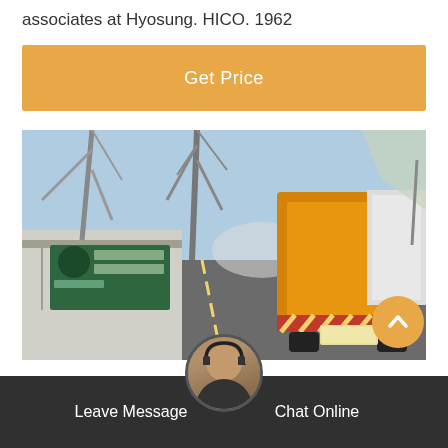associates at Hyosung. HICO. 1962
[Figure (other): Orange button labeled 'Get Price']
[Figure (photo): Photo of an industrial facility entrance with a large orange truck/lorry on a road, metal towers/cranes in the background, and a green Chinese-language sign on the left side of the road.]
[Figure (other): Bottom navigation bar with 'Leave Message' on the left, a customer service avatar in the center, and 'Chat Online' on the right, on a dark semi-transparent background. An orange scroll-up arrow button appears above on the right.]